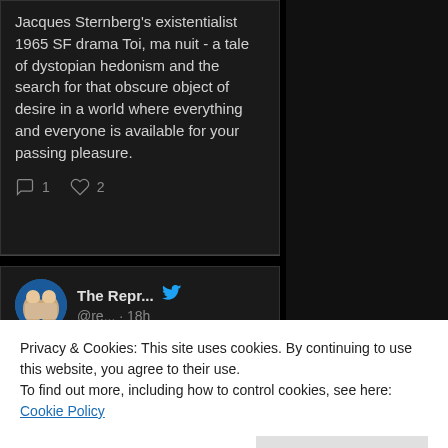Jacques Sternberg's existentialist 1965 SF drama Toi, ma nuit - a tale of dystopian hedonism and the search for that obscure object of desire in a world where everything and everyone is available for your passing pleasure.
1  2
The Repr... @re... · 18h
Replying to
Privacy & Cookies: This site uses cookies. By continuing to use this website, you agree to their use.
To find out more, including how to control cookies, see here: Cookie Policy
Close and accept
characters all feel like